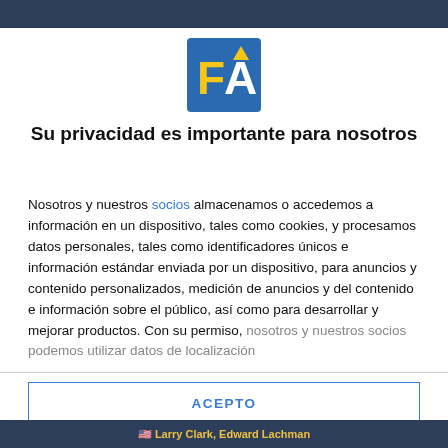[Figure (logo): FA logo: blue square background with yellow letter F and white letter A with a mountain/hat shape on top]
Su privacidad es importante para nosotros
Nosotros y nuestros socios almacenamos o accedemos a información en un dispositivo, tales como cookies, y procesamos datos personales, tales como identificadores únicos e información estándar enviada por un dispositivo, para anuncios y contenido personalizados, medición de anuncios y del contenido e información sobre el público, así como para desarrollar y mejorar productos. Con su permiso, nosotros y nuestros socios podemos utilizar datos de localización
ACEPTO
MÁS OPCIONES
Larry Clark, Edward Lachman